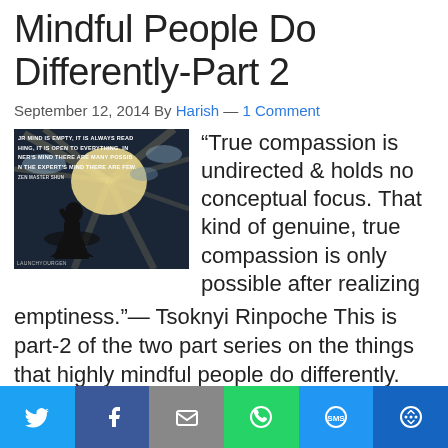Mindful People Do Differently-Part 2
September 12, 2014 By Harish — 1 Comment
[Figure (photo): Silhouette of a person meditating against a bright sky with rays of light, with text overlay: 'If your mind is empty, it is always ready for anything, it is open to everything. In the beginner's mind there are many possibilities, but in the expert's mind there are few. — Zen Master Shunryu']
“True compassion is undirected & holds no conceptual focus. That kind of genuine, true compassion is only possible after realizing emptiness.”— Tsoknyi Rinpoche This is part-2 of the two part series on the things that highly mindful people do differently. You can read
Twitter | Facebook | Email | WhatsApp | SMS | More